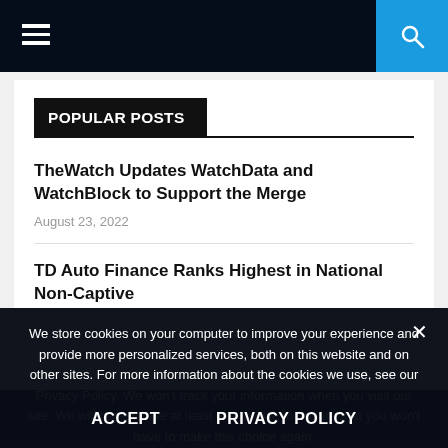Navigation bar with hamburger menu and search button
POPULAR POSTS
TheWatch Updates WatchData and WatchBlock to Support the Merge
August 23, 2022
TD Auto Finance Ranks Highest in National Non-Captive
We store cookies on your computer to improve your experience and provide more personalized services, both on this website and on other sites. For more information about the cookies we use, see our Privacy Policy. We won't track your information when you visit our site. We will have to use at least one cookie to ensure that you won't have to make this choice again.
ACCEPT   PRIVACY POLICY